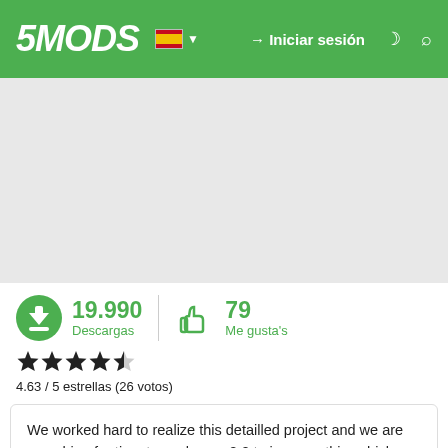5MODS — Iniciar sesión
[Figure (screenshot): Gray placeholder area for a mod image]
19.990 Descargas   79 Me gusta's
4.63 / 5 estrellas (26 votos)
We worked hard to realize this detailled project and we are searching for time to work on a 2.0 to improve this vehicle and add more details.

DISCLAIMER: It is not allowed to reupload this model without our premission, if you reskin it you can only upload the YTD files